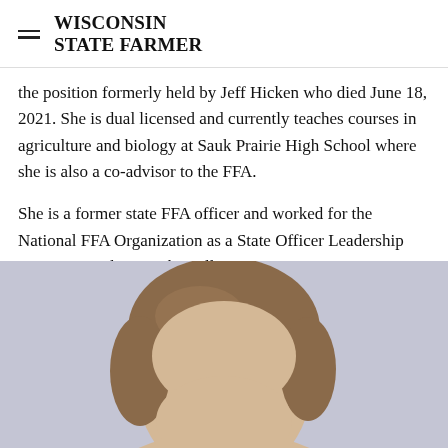WISCONSIN STATE FARMER
the position formerly held by Jeff Hicken who died June 18, 2021. She is dual licensed and currently teaches courses in agriculture and biology at Sauk Prairie High School where she is also a co-advisor to the FFA.
She is a former state FFA officer and worked for the National FFA Organization as a State Officer Leadership Program Facilitator. She will start at DPI on Jan. 31, 2022.
[Figure (photo): Portrait photo of a woman with brown hair against a light grey-blue background, cropped to show the top of the head and upper face area]